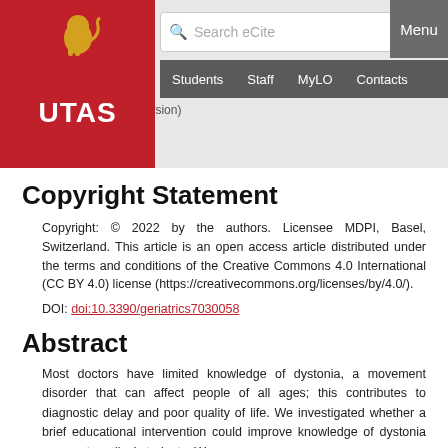[Figure (screenshot): UTAS university website navigation bar with red logo block containing lion crest and UTAS text, search bar saying 'Search eCite', grey Menu button, navigation links for Students, Staff, MyLO, Contacts]
PDF (Published Version)
915Kb
Copyright Statement
Copyright: © 2022 by the authors. Licensee MDPI, Basel, Switzerland. This article is an open access article distributed under the terms and conditions of the Creative Commons 4.0 International (CC BY 4.0) license (https://creativecommons.org/licenses/by/4.0/).
DOI: doi:10.3390/geriatrics7030058
Abstract
Most doctors have limited knowledge of dystonia, a movement disorder that can affect people of all ages; this contributes to diagnostic delay and poor quality of life. We investigated whether a brief educational intervention could improve knowledge of dystonia amongst medical students. We